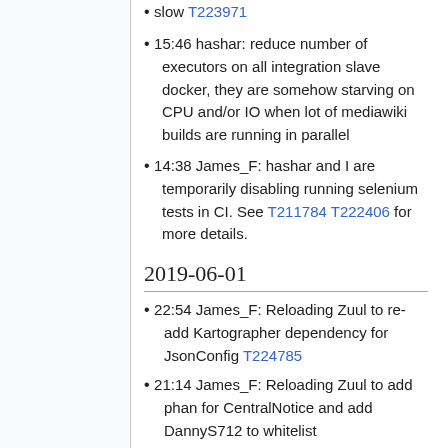slow T223971
15:46 hashar: reduce number of executors on all integration slave docker, they are somehow starving on CPU and/or IO when lot of mediawiki builds are running in parallel
14:38 James_F: hashar and I are temporarily disabling running selenium tests in CI. See T211784 T222406 for more details.
2019-06-01
22:54 James_F: Reloading Zuul to re-add Kartographer dependency for JsonConfig T224785
21:14 James_F: Reloading Zuul to add phan for CentralNotice and add DannyS712 to whitelist